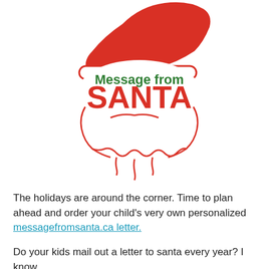[Figure (logo): Message from Santa logo: Santa Claus face silhouette with red hat, green bold text 'Message from' and large red bold text 'SANTA', with red outline beard illustration below]
The holidays are around the corner. Time to plan ahead and order your child's very own personalized messagefromsanta.ca letter.
Do your kids mail out a letter to santa every year? I know